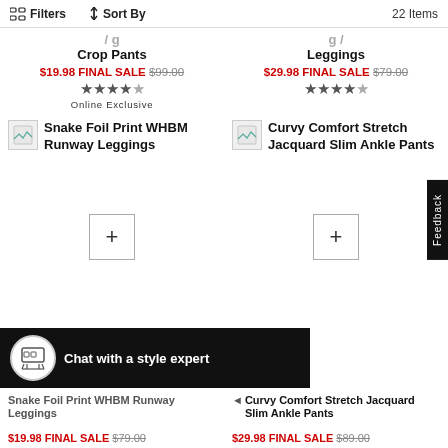Filters  ↑↓ Sort By  22 Items
Crop Pants
$19.98 FINAL SALE  $99.00  ★★★★½  Online Exclusive
Leggings
$29.98 FINAL SALE  $79.00  ★★★★½
Snake Foil Print WHBM Runway Leggings
Curvy Comfort Stretch Jacquard Slim Ankle Pants
Feedback
Chat with a style expert
Snake Foil Print WHBM Runway Leggings  — $19.98 FINAL SALE  $79.00
Curvy Comfort Stretch Jacquard Slim Ankle Pants  — $29.98 FINAL SALE  $89.00